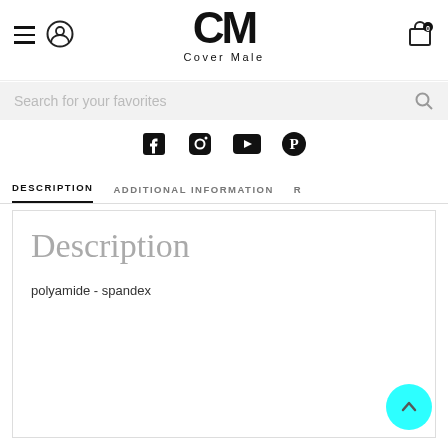CM Cover Male
Search for your favorites
[Figure (other): Social media icons: Facebook, Instagram, YouTube, Pinterest]
DESCRIPTION   ADDITIONAL INFORMATION   R
Description
polyamide - spandex